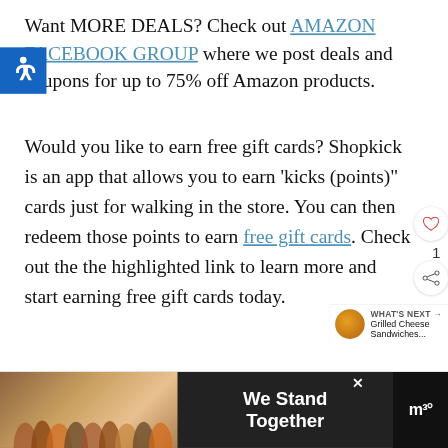Want MORE DEALS? Check out AMAZON FACEBOOK GROUP where we post deals and coupons for up to 75% off Amazon products.
[Figure (illustration): Blue accessibility icon with wheelchair symbol]
Would you like to earn free gift cards? Shopkick is an app that allows you to earn 'kicks (points)" cards just for walking in the store. You can then redeem those points to earn free gift cards. Check out the the highlighted link to learn more and start earning free gift cards today.
If you love to shop online check out some of our...
[Figure (photo): Advertisement banner: group of people hugging from behind, text 'We Stand Together', with logo]